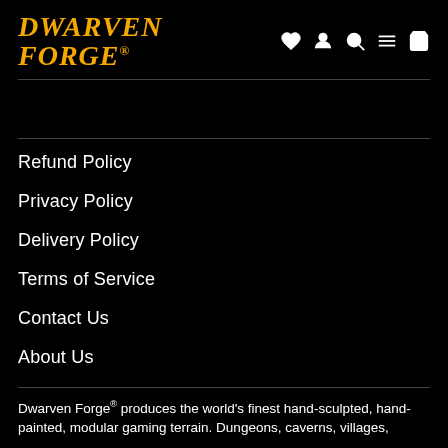Dwarven Forge®
Refund Policy
Privacy Policy
Delivery Policy
Terms of Service
Contact Us
About Us
Dwarven Forge® produces the world's finest hand-sculpted, hand-painted, modular gaming terrain. Dungeons, caverns, villages,